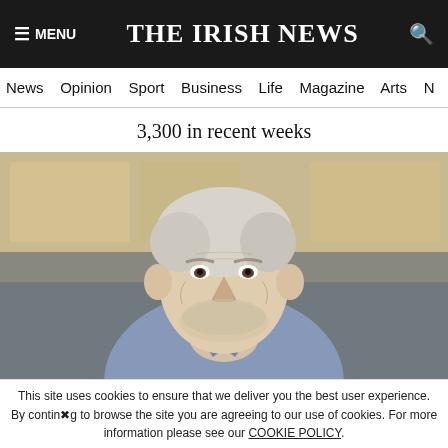≡ MENU   THE IRISH NEWS   🔍
News  Opinion  Sport  Business  Life  Magazine  Arts
3,300 in recent weeks
[Figure (photo): Elderly man with white hair and light blue shirt smiling in a kitchen setting]
Man charged with murder of Thomas O'Halloran remanded in custody
This site uses cookies to ensure that we deliver you the best user experience. By continuing to browse the site you are agreeing to our use of cookies. For more information please see our COOKIE POLICY.